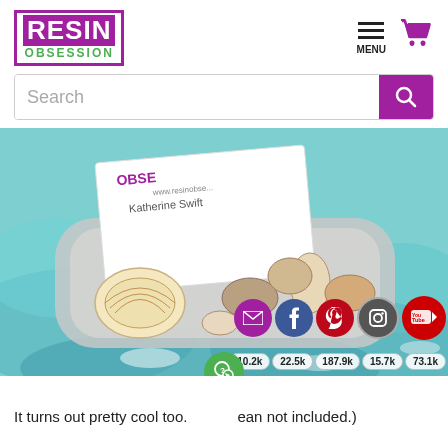[Figure (logo): Resin Obsession logo: purple box with white 'RESIN' text and green 'OBSESSION' text below]
[Figure (screenshot): Hamburger menu icon and purple shopping cart icon at top right]
[Figure (screenshot): Search bar with purple search button]
[Figure (photo): Photo of a resin business card holder with seashells embedded, showing a Katherine Swift Resin Obsession business card. Social media share icons (email, Facebook, Pinterest, Instagram, YouTube) with counts 10.2k, 22.5k, 187.9k, 15.7k, 73.1k overlaid at bottom.]
It turns out pretty cool too. ( ean not included.)